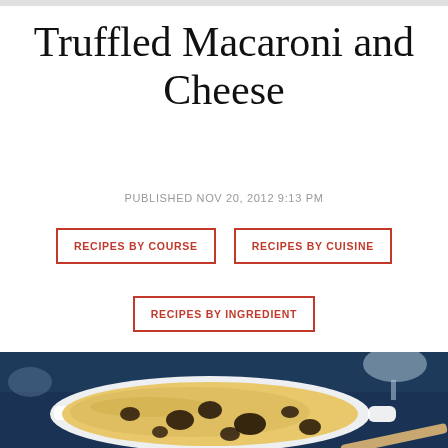Truffled Macaroni and Cheese
PUBLISHED NOV 20, 2012 9:13 PM
RECIPES BY COURSE
RECIPES BY CUISINE
RECIPES BY INGREDIENT
[Figure (photo): A white oval baking dish filled with truffled macaroni and cheese topped with dark truffle pieces, on a dark blue surface with a wine glass visible in the background]